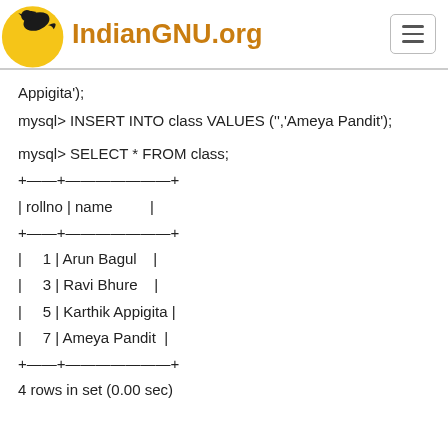IndianGNU.org
Appigita');
mysql> INSERT INTO class VALUES ('','Ameya Pandit');
mysql> SELECT * FROM class;
+----+-----------------+
| rollno | name          |
+----+-----------------+
|      1 | Arun Bagul    |
|      3 | Ravi Bhure    |
|      5 | Karthik Appigita |
|      7 | Ameya Pandit  |
+----+-----------------+
4 rows in set (0.00 sec)